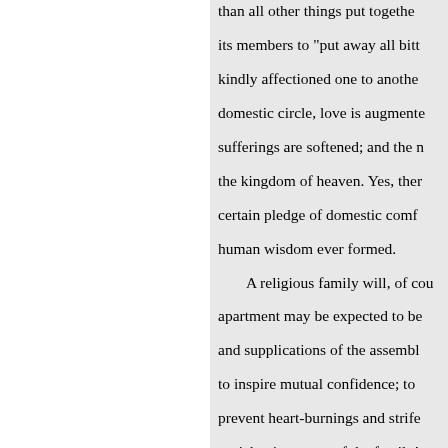than all other things put together, its members to "put away all bitterness," kindly affectioned one to another. In the domestic circle, love is augmented; sufferings are softened; and the members of the kingdom of heaven. Yes, there is a certain pledge of domestic comfort which human wisdom ever formed.

A religious family will, of course, apartment may be expected to be and supplications of the assembly to inspire mutual confidence; to prevent heart-burnings and strife; social enjoy. ment of the family! Father, unitedly confessing their dwell together in peace, than those relations.

Religion in itself, has a direct affectionate relation with Him. "again, "He blesseth the habitation Jehovah's blessing! Whether they attends them, it is ordered in covenant protecting providence is over the